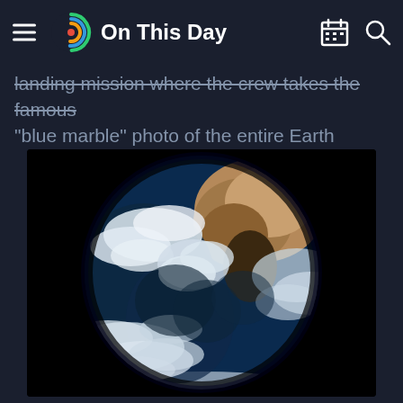On This Day
landing mission where the crew takes the famous "blue marble" photo of the entire Earth
[Figure (photo): The famous Blue Marble photograph of Earth taken from space, showing the full disk of the Earth with Africa, Antarctica, and swirling white clouds against black space background.]